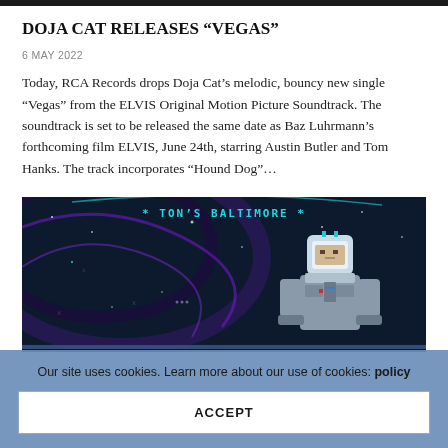DOJA CAT RELEASES “VEGAS”
6 MAY 2022
Today, RCA Records drops Doja Cat’s melodic, bouncy new single “Vegas” from the ELVIS Original Motion Picture Soundtrack. The soundtrack is set to be released the same date as Baz Luhrmann’s forthcoming film ELVIS, June 24th, starring Austin Butler and Tom Hanks. The track incorporates “Hound Dog”…
[Figure (screenshot): Pixel art screenshot showing an astronaut character in a space-themed scene with text '* TON'S BALTIMORE *' at the top, dark blue/teal background with stars and cosmic elements]
Our site uses cookies. Learn more about our use of cookies: policy
ACCEPT